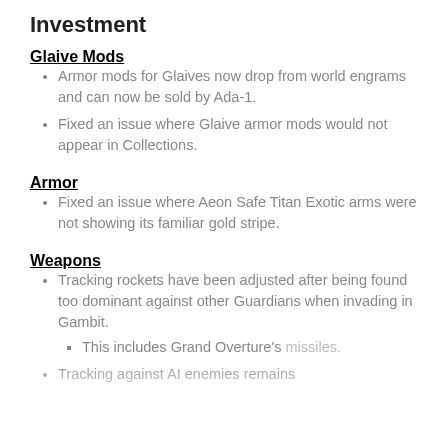Investment
Glaive Mods
Armor mods for Glaives now drop from world engrams and can now be sold by Ada-1.
Fixed an issue where Glaive armor mods would not appear in Collections.
Armor
Fixed an issue where Aeon Safe Titan Exotic arms were not showing its familiar gold stripe.
Weapons
Tracking rockets have been adjusted after being found too dominant against other Guardians when invading in Gambit.
This includes Grand Overture's missiles.
Tracking against AI enemies remains